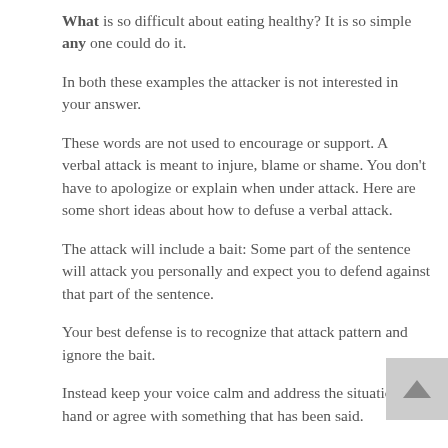What is so difficult about eating healthy? It is so simple any one could do it.
In both these examples the attacker is not interested in your answer.
These words are not used to encourage or support. A verbal attack is meant to injure, blame or shame. You don't have to apologize or explain when under attack. Here are some short ideas about how to defuse a verbal attack.
The attack will include a bait: Some part of the sentence will attack you personally and expect you to defend against that part of the sentence.
Your best defense is to recognize that attack pattern and ignore the bait.
Instead keep your voice calm and address the situation at hand or agree with something that has been said.
All words spoken are not absolute truths. Just by understanding and recognizing a verbal attack can